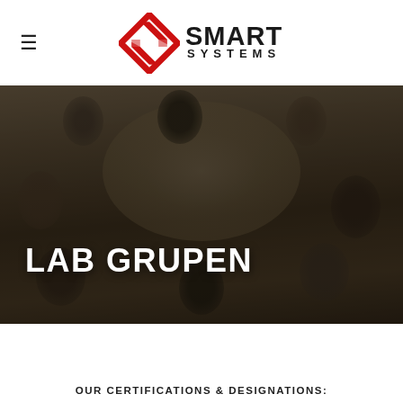Smart Systems logo and navigation
[Figure (logo): Smart Systems logo: red diamond/S-shaped geometric icon on left, 'SMART SYSTEMS' text in dark grey bold on right]
[Figure (photo): Aerial overhead view of a group of people sitting around a dark oval conference table, working with papers and a laptop. Dark overlay applied. Photo appears in dark warm tones.]
LAB GRUPEN
OUR CERTIFICATIONS & DESIGNATIONS: